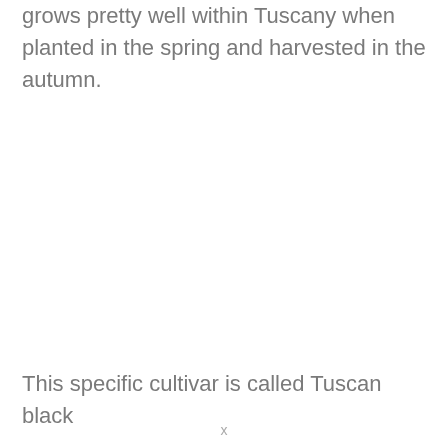Kale is one of the easier Brassicas to grow and grows pretty well within Tuscany when planted in the spring and harvested in the autumn.
This specific cultivar is called Tuscan black
x